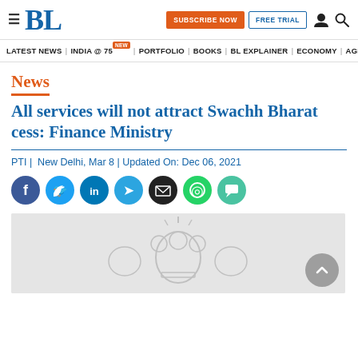[Figure (screenshot): Business Line website header with BL logo, SUBSCRIBE NOW button, FREE TRIAL button, user icon, and search icon]
LATEST NEWS | INDIA @ 75 | PORTFOLIO | BOOKS | BL EXPLAINER | ECONOMY | AGR
News
All services will not attract Swachh Bharat cess: Finance Ministry
PTI |  New Delhi, Mar 8 | Updated On: Dec 06, 2021
[Figure (illustration): Row of social sharing icons: Facebook, Twitter, LinkedIn, Telegram, Email, WhatsApp, Comments]
[Figure (illustration): Government of India emblem / coat of arms in light grey on white background]